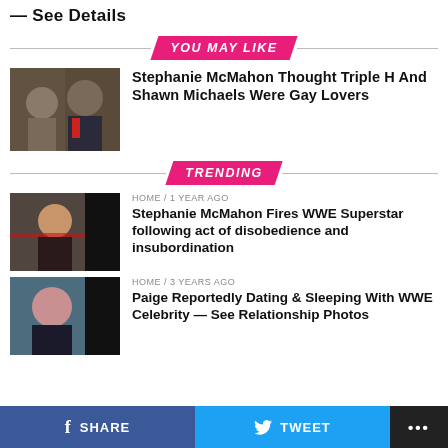— See Details
YOU MAY LIKE
[Figure (photo): Photo of two men — one in camo hat and one in suit with red tie]
Stephanie McMahon Thought Triple H And Shawn Michaels Were Gay Lovers
TRENDING
HOME / 1 year ago
[Figure (photo): Photo of a woman with long brown hair sitting at a table]
Stephanie McMahon Fires WWE Superstar following act of disobedience and insubordination
HOME / 3 years ago
[Figure (photo): Photo of a woman with long dark hair]
Paige Reportedly Dating & Sleeping With WWE Celebrity — See Relationship Photos
SHARE   TWEET   ...